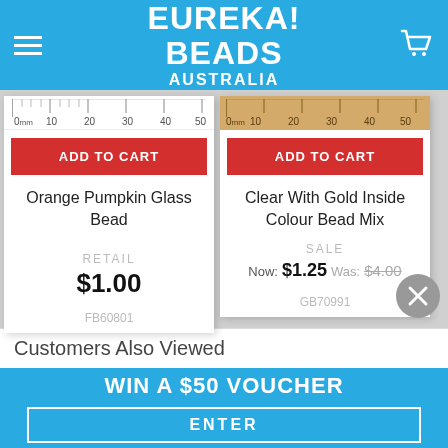EUREKA! BEADS AUSTRALIA
[Figure (screenshot): Two product cards showing beads for sale. Left card: Orange Pumpkin Glass Bead, RETAIL $1.00, code FB60801. Right card: Clear With Gold Inside Colour Bead Mix, SALE Now: $1.25 Was: $4.00, code GB70991. Each card has an ADD TO CART button and a ruler measurement strip at top.]
Customers Also Viewed
WIN A $50 VOUCHER
ENTER